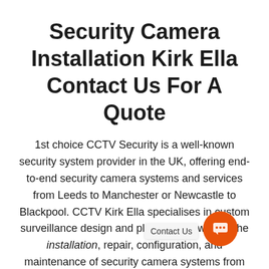Security Camera Installation Kirk Ella Contact Us For A Quote
1st choice CCTV Security is a well-known security system provider in the UK, offering end-to-end security camera systems and services from Leeds to Manchester or Newcastle to Blackpool. CCTV Kirk Ella specialises in custom surveillance design and planning, as well as the installation, repair, configuration, and maintenance of security camera systems from leading brands …, Spro, Qvis, Dahua, Lorex, Swann, and more.